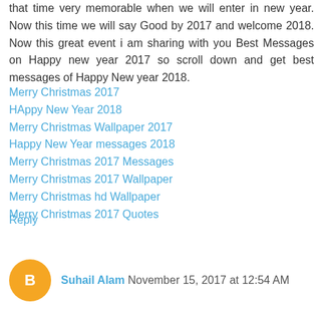that time very memorable when we will enter in new year. Now this time we will say Good by 2017 and welcome 2018. Now this great event i am sharing with you Best Messages on Happy new year 2017 so scroll down and get best messages of Happy New year 2018.
Merry Christmas 2017
HAppy New Year 2018
Merry Christmas Wallpaper 2017
Happy New Year messages 2018
Merry Christmas 2017 Messages
Merry Christmas 2017 Wallpaper
Merry Christmas hd Wallpaper
Merry Christmas 2017 Quotes
Reply
Suhail Alam November 15, 2017 at 12:54 AM